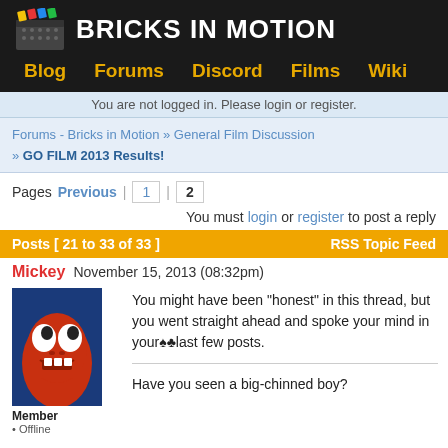BRICKS IN MOTION
Blog  Forums  Discord  Films  Wiki
You are not logged in. Please login or register.
Forums - Bricks in Motion » General Film Discussion » GO FILM 2013 Results!
Pages Previous 1 2
You must login or register to post a reply
Posts [ 21 to 33 of 33 ]    RSS Topic Feed
Mickey  November 15, 2013 (08:32pm)
You might have been "honest" in this thread, but you went straight ahead and spoke your mind in your last few posts.

Have you seen a big-chinned boy?
Member
Offline